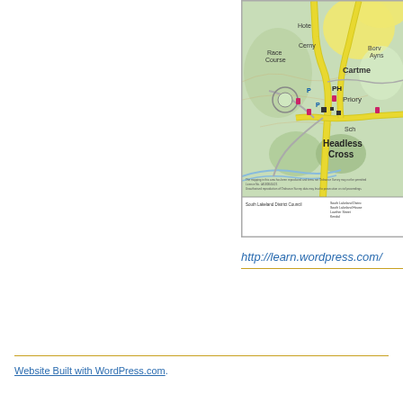[Figure (map): Partial view of an Ordnance Survey style map showing Cartmel area with Race Course, Hotel (Hote), Cerny, PH, Priory, Headless Cross, Sch labels. Yellow roads visible. South Lakeland District Council map. Bottom panel shows 'South Lakeland District Council' on left and address details on right.]
http://learn.wordpress.com/
Website Built with WordPress.com.